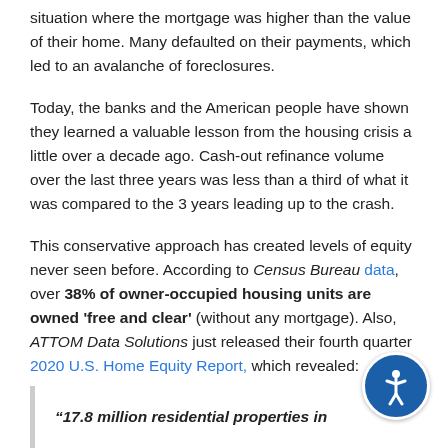situation where the mortgage was higher than the value of their home. Many defaulted on their payments, which led to an avalanche of foreclosures.
Today, the banks and the American people have shown they learned a valuable lesson from the housing crisis a little over a decade ago. Cash-out refinance volume over the last three years was less than a third of what it was compared to the 3 years leading up to the crash.
This conservative approach has created levels of equity never seen before. According to Census Bureau data, over 38% of owner-occupied housing units are owned 'free and clear' (without any mortgage). Also, ATTOM Data Solutions just released their fourth quarter 2020 U.S. Home Equity Report, which revealed:
“17.8 million residential properties in